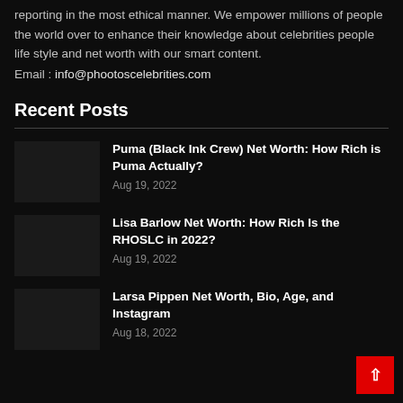reporting in the most ethical manner. We empower millions of people the world over to enhance their knowledge about celebrities people life style and net worth with our smart content.
Email : info@phootoscelebrities.com
Recent Posts
Puma (Black Ink Crew) Net Worth: How Rich is Puma Actually? — Aug 19, 2022
Lisa Barlow Net Worth: How Rich Is the RHOSLC in 2022? — Aug 19, 2022
Larsa Pippen Net Worth, Bio, Age, and Instagram — Aug 18, 2022